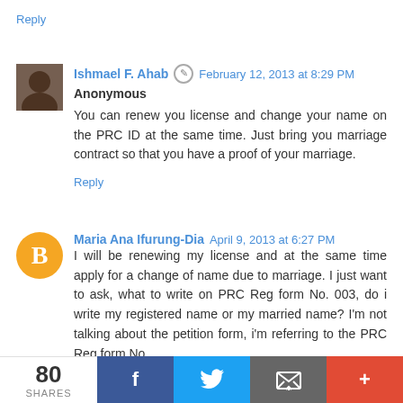Reply
Ishmael F. Ahab  February 12, 2013 at 8:29 PM
Anonymous
You can renew you license and change your name on the PRC ID at the same time. Just bring you marriage contract so that you have a proof of your marriage.
Reply
Maria Ana Ifurung-Dia  April 9, 2013 at 6:27 PM
I will be renewing my license and at the same time apply for a change of name due to marriage. I just want to ask, what to write on PRC Reg form No. 003, do i write my registered name or my married name? I'm not talking about the petition form, i'm referring to the PRC Reg form No.
80 SHARES  f  (twitter)  (mail)  +